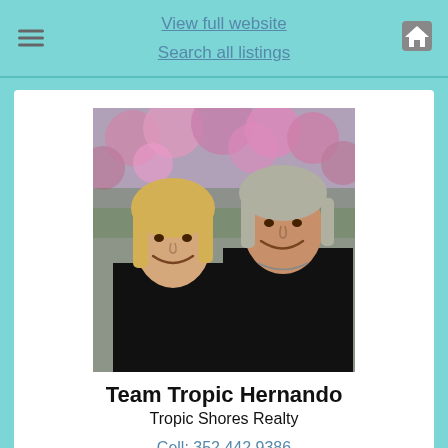View full website
Search all listings
[Figure (photo): Two women smiling outdoors in front of pink flowering bushes, both wearing dark clothing]
Team Tropic Hernando
Tropic Shores Realty
Cell: 352.442.9386
Cell: 352.428.5232
teamtropichernando@yahoo.com